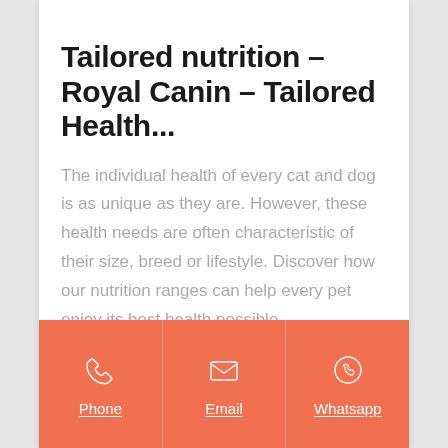Tailored nutrition - Royal Canin - Tailored Health...
The individual health of every cat and dog is as unique as they are. However, these health needs are often characteristic of their size, breed or lifestyle. Discover how our nutrition ranges can help every pet enjoy its best health possible.
Get Price
Phone
Email
Whatsapp